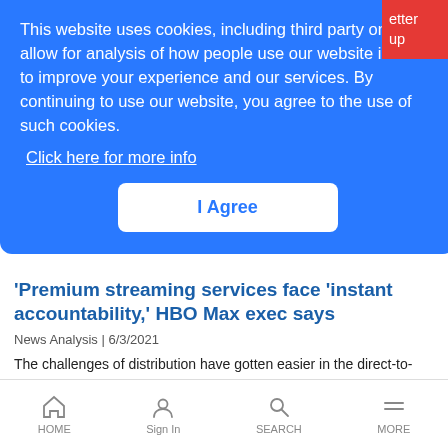This website uses cookies, including third party ones, to allow for analysis of how people use our website in order to improve your experience and our services. By continuing to use our website, you agree to the use of such cookies. Click here for more info
I Agree
en RAN y a mix
Premium streaming services face 'instant accountability,' HBO Max exec says
News Analysis | 6/3/2021
The challenges of distribution have gotten easier in the direct-to-consumer streaming era, but subscriber retention has emerged as the big test, says HBO Max's Andy Forssell.
HOME   Sign In   SEARCH   MORE